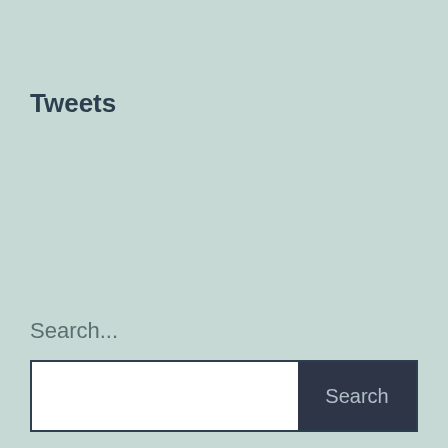Tweets
Search...
[Figure (screenshot): Search input field (white) with a dark navy Search button on the right]